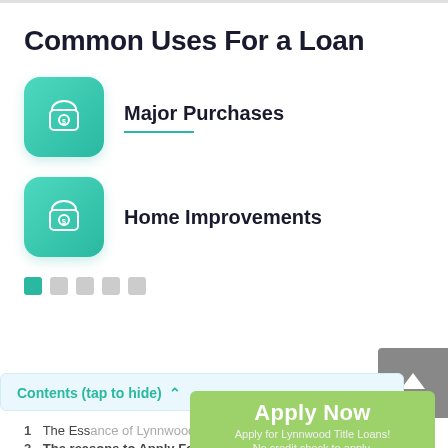Common Uses For a Loan
Major Purchases
Home Improvements
[Figure (infographic): Scroll-to-top button: grey square with white upward arrow]
Contents (tap to hide) ^
Apply Now
Apply for Lynnwood Title Loans!
No credit check to apply.
1  The Essance of Lynnwood Title Loans
2  The reasons to Apply For Title Loans in